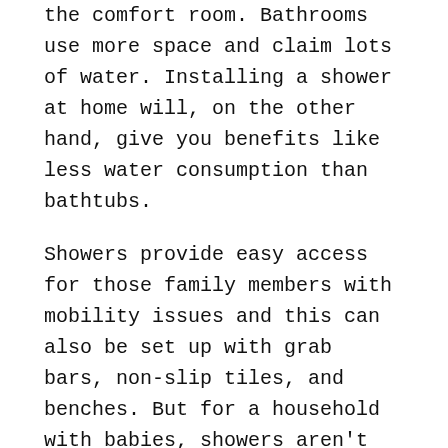the comfort room. Bathrooms use more space and claim lots of water. Installing a shower at home will, on the other hand, give you benefits like less water consumption than bathtubs.
Showers provide easy access for those family members with mobility issues and this can also be set up with grab bars, non-slip tiles, and benches. But for a household with babies, showers aren't ideal. Cleaning and maintenance of the shower doors are needed to keep them from visible lime and calcium stains.
In most households, family members tend to use showers rather than bathtubs. But some homeowners disagree with the fact that the tub